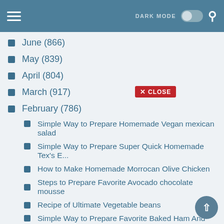DARK MODE [toggle] [search]
June (866)
May (839)
April (804)
March (917)
February (786)
Simple Way to Prepare Homemade Vegan mexican salad
Simple Way to Prepare Super Quick Homemade Tex's E...
How to Make Homemade Morrocan Olive Chicken
Steps to Prepare Favorite Avocado chocolate mousse
Recipe of Ultimate Vegetable beans
Simple Way to Prepare Favorite Baked Ham And Egg R...